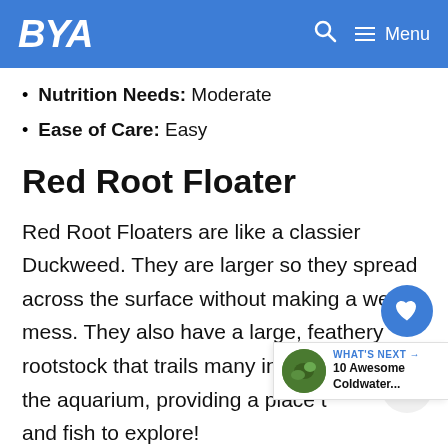BYA — Menu
Nutrition Needs: Moderate
Ease of Care: Easy
Red Root Floater
Red Root Floaters are like a classier Duckweed. They are larger so they spread across the surface without making a weedy mess. They also have a large, feathery rootstock that trails many inches down into the aquarium, providing a place t… and fish to explore!